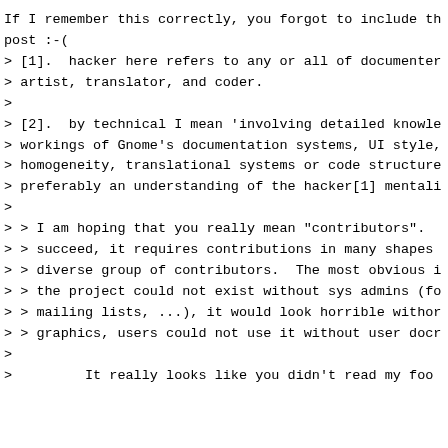If I remember this correctly, you forgot to include th
post :-(
> [1].  hacker here refers to any or all of documenter
> artist, translator, and coder.
>
> [2].  by technical I mean 'involving detailed knowle
> workings of Gnome's documentation systems, UI style,
> homogeneity, translational systems or code structure
> preferably an understanding of the hacker[1] mentali
>
> > I am hoping that you really mean "contributors".
> > succeed, it requires contributions in many shapes
> > diverse group of contributors.  The most obvious i
> > the project could not exist without sys admins (fo
> > mailing lists, ...), it would look horrible withor
> > graphics, users could not use it without user docr
>
>         It really looks like you didn't read my foo